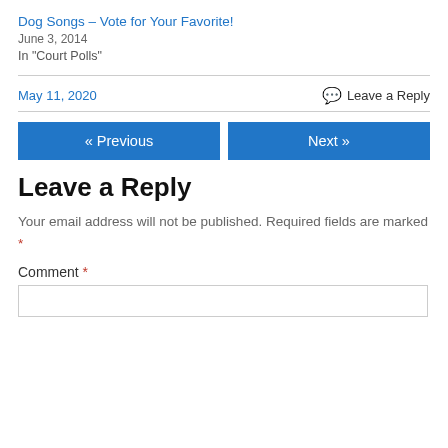Dog Songs – Vote for Your Favorite!
June 3, 2014
In "Court Polls"
May 11, 2020
Leave a Reply
« Previous
Next »
Leave a Reply
Your email address will not be published. Required fields are marked *
Comment *